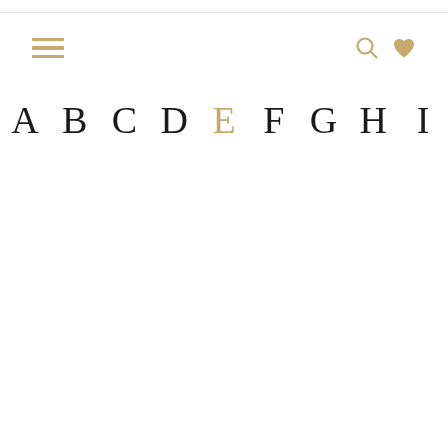Navigation bar with hamburger menu, search icon, and heart icon
A B C D E F G H I — alphabet navigation with E highlighted